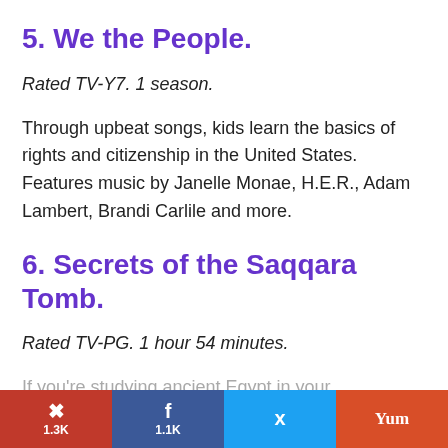5. We the People.
Rated TV-Y7. 1 season.
Through upbeat songs, kids learn the basics of rights and citizenship in the United States. Features music by Janelle Monae, H.E.R., Adam Lambert, Brandi Carlile and more.
6. Secrets of the Saqqara Tomb.
Rated TV-PG. 1 hour 54 minutes.
If you're studying ancient Egypt in your homeschool curriculum, check out Secrets of the Saqqara Tomb! Your kids will get to watch archaeologists explore a tomb that has been
1.3K  1.1K